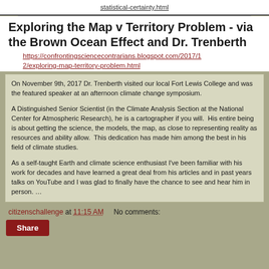statistical-certainty.html
Exploring the Map v Territory Problem - via the Brown Ocean Effect and Dr. Trenberth
https://confrontingsciencecontrarians.blogspot.com/2017/12/exploring-map-territory-problem.html
On November 9th, 2017 Dr. Trenberth visited our local Fort Lewis College and was the featured speaker at an afternoon climate change symposium.

A Distinguished Senior Scientist (in the Climate Analysis Section at the National Center for Atmospheric Research), he is a cartographer if you will.  His entire being is about getting the science, the models, the map, as close to representing reality as resources and ability allow.  This dedication has made him among the best in his field of climate studies.

As a self-taught Earth and climate science enthusiast I've been familiar with his work for decades and have learned a great deal from his articles and in past years talks on YouTube and I was glad to finally have the chance to see and hear him in person. …
citizenschallenge at 11:15 AM     No comments:
Share